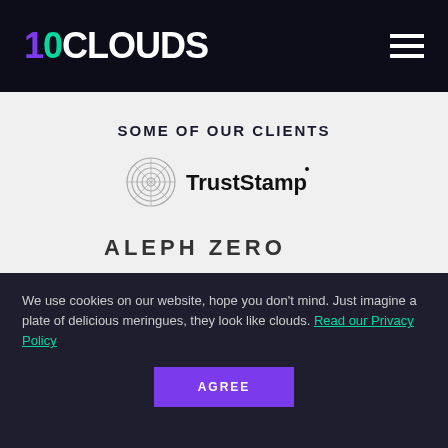10CLOUDS
SOME OF OUR CLIENTS
[Figure (logo): TrustStamp logo with concentric circles icon and TrustStamp wordmark]
[Figure (logo): Aleph Zero logo in geometric sans-serif lettering]
[Figure (logo): Forbes logo in large italic serif font]
We use cookies on our website, hope you don’t mind. Just imagine a plate of delicious meringues, they look like clouds. Read our Privacy Policy
AGREE